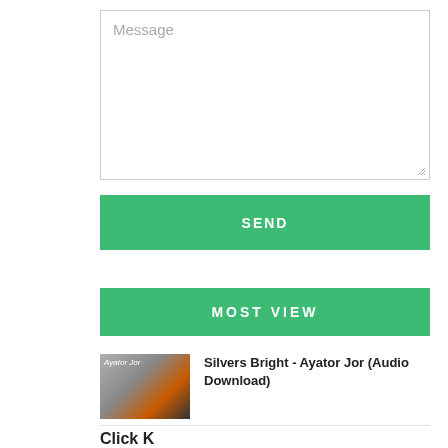[Figure (screenshot): Message textarea input box with placeholder text 'Message' and resize handle in bottom-right corner]
SEND
MOST VIEW
[Figure (photo): Album art thumbnail for Silvers Bright - Ayator Jor, showing a person with orange graphic background]
Silvers Bright - Ayator Jor (Audio Download)
Click K